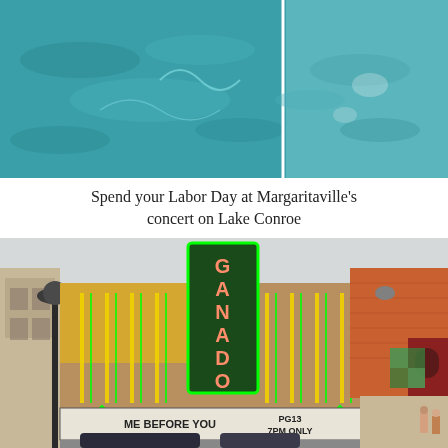[Figure (photo): Aerial view of turquoise pool/water with two panels side by side, showing rippling water surface]
Spend your Labor Day at Margaritaville's concert on Lake Conroe
[Figure (photo): Street view of the Ganado Theater with neon marquee sign showing 'ME BEFORE YOU PG13 7PM ONLY', decorated with green and yellow neon lighting, surrounded by neighboring storefronts]